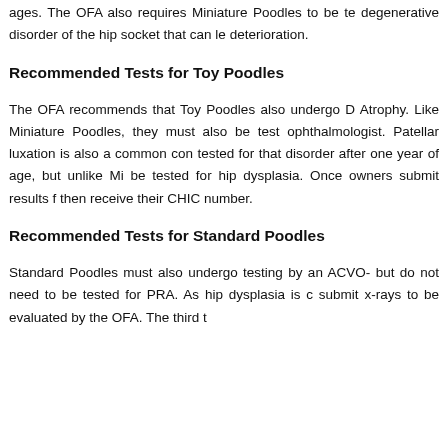ages. The OFA also requires Miniature Poodles to be tested for a degenerative disorder of the hip socket that can lead to deterioration.
Recommended Tests for Toy Poodles
The OFA recommends that Toy Poodles also undergo D Atrophy. Like Miniature Poodles, they must also be tested by an ophthalmologist. Patellar luxation is also a common concern, and be tested for that disorder after one year of age, but unlike Miniature Poodles, need not be tested for hip dysplasia. Once owners submit results from these tests, they then receive their CHIC number.
Recommended Tests for Standard Poodles
Standard Poodles must also undergo testing by an ACVO- but do not need to be tested for PRA. As hip dysplasia is c submit x-rays to be evaluated by the OFA. The third t